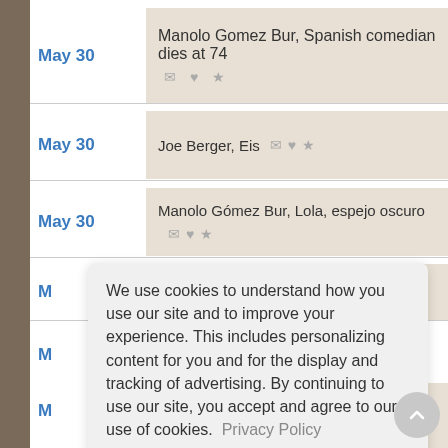May 30 — Manolo Gomez Bur, Spanish comedian dies at 74
May 30 — Joe Berger, Eis
May 30 — Manolo Gómez Bur, Lola, espejo oscuro
We use cookies to understand how you use our site and to improve your experience. This includes personalizing content for you and for the display and tracking of advertising. By continuing to use our site, you accept and agree to our use of cookies. Privacy Policy
Got it!